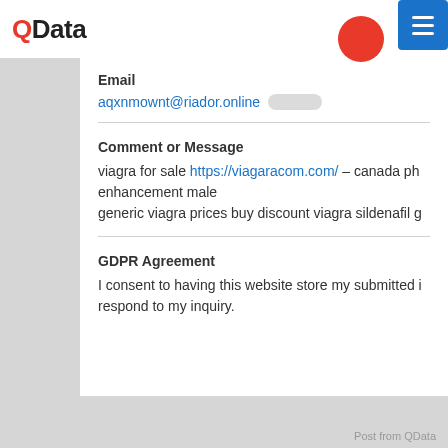QData
Email
aqxnmownt@riador.online
Comment or Message
viagra for sale https://viagaracom.com/ – canada ph enhancement male generic viagra prices buy discount viagra sildenafil g
GDPR Agreement
I consent to having this website store my submitted i respond to my inquiry.